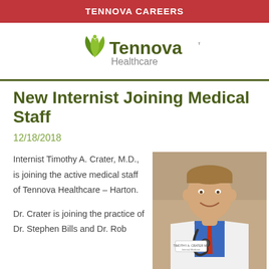TENNOVA CAREERS
[Figure (logo): Tennova Healthcare logo with green leaf icon]
New Internist Joining Medical Staff
12/18/2018
Internist Timothy A. Crater, M.D., is joining the active medical staff of Tennova Healthcare – Harton.
[Figure (photo): Portrait photo of Dr. Timothy A. Crater in white lab coat with stethoscope]
Dr. Crater is joining the practice of Dr. Stephen Bills and Dr. Rob